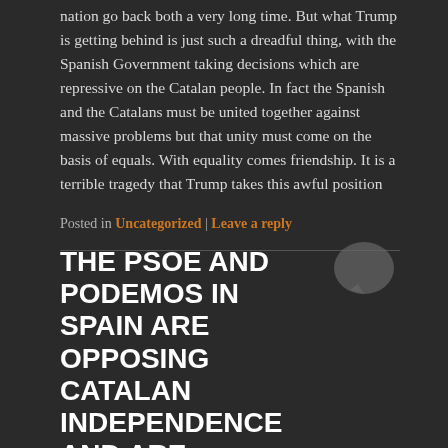nation go back both a very long time. But what Trump is getting behind is just such a dreadful thing, with the Spanish Government taking decisions which are repressive on the Catalan people. In fact the Spanish and the Catalans must be united together against massive problems but that unity must come on the basis of equals. With equality comes friendship. It is a terrible tragedy that Trump takes this awful position
Posted in Uncategorized | Leave a reply
THE PSOE AND PODEMOS IN SPAIN ARE OPPOSING CATALAN INDEPENDENCE AND ARE BETRAYING THE CATALAN PEOPLE